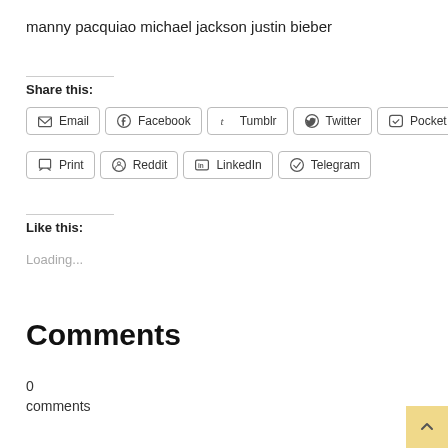manny pacquiao michael jackson justin bieber
Share this:
Email  Facebook  Tumblr  Twitter  Pocket  Print  Reddit  LinkedIn  Telegram
Like this:
Loading...
Comments
0
comments